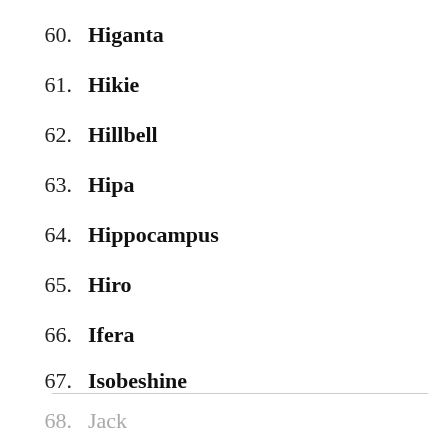60. Higanta
61. Hikie
62. Hillbell
63. Hipa
64. Hippocampus
65. Hiro
66. Ifera
67. Isobeshine
68. Jack